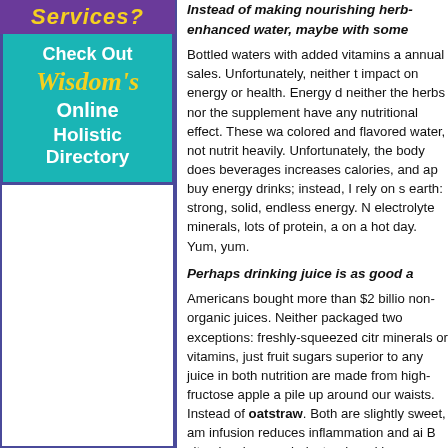[Figure (illustration): Purple banner with italic yellow bold text reading 'Services?']
[Figure (illustration): Teal box with text: 'Check Out Wisdom's Online Holistic Directory' in white and yellow on teal background with purple border]
[Figure (illustration): White advertisement box with purple border]
Instead of making nourishing herb-enhanced water, maybe with some
Bottled waters with added vitamins and annual sales. Unfortunately, neither the impact on energy or health. Energy d neither the herbs nor the supplements have any nutritional effect. These wa colored and flavored water, not nutrit heavily. Unfortunately, the body does beverages increases calories, and app buy energy drinks; instead, I rely on s earth: strong, solid, endless energy. N electrolyte minerals, lots of protein, a on a hot day. Yum, yum.
Perhaps drinking juice is as good a
Americans bought more than $2 billio non-organic juices. Neither packaged two exceptions: freshly-squeezed citr minerals or vitamins, just fruit sugars superior to any juice in both nutrition are made from high-fructose apple a pile up around our waists. Instead of oatstraw. Both are slightly sweet, am infusion reduces inflammation and ai B vitamins, lowers cholesterol, and i